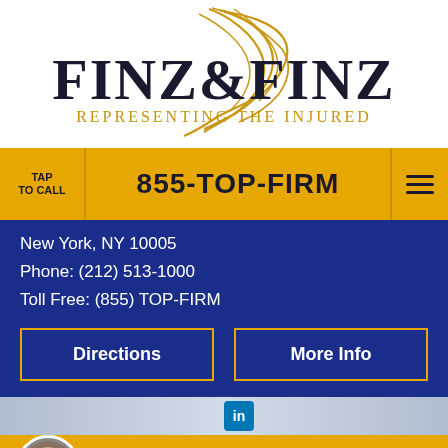[Figure (logo): Finz & Finz law firm logo with gold script flourish, dark serif text reading FINZ & FINZ, and tagline Representing The Injured]
TAP
TO CALL
855-TOP-FIRM
New York, NY 10005
Phone: (212) 513-1000
Toll Free: (855) TOP-FIRM
Directions
More Info
LIVE CHAT
TEXT US